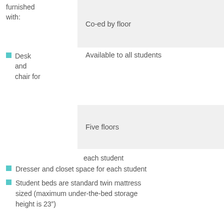furnished with:
Co-ed by floor
Desk and chair for
Available to all students
Five floors
each student
Dresser and closet space for each student
Student beds are standard twin mattress sized (maximum under-the-bed storage height is 23")
INTERNET
Every room in North Hall is equipped with University high speed ethernet and wireless access.